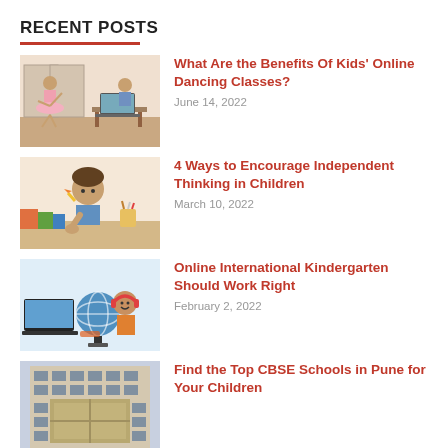RECENT POSTS
[Figure (photo): Two girls in a room, one in a pink tutu dancing, another at a laptop on a desk]
What Are the Benefits Of Kids' Online Dancing Classes?
June 14, 2022
[Figure (photo): A young boy with a pencil, thinking, at a desk with books and supplies]
4 Ways to Encourage Independent Thinking in Children
March 10, 2022
[Figure (photo): A girl with headphones at a desk with a globe and a laptop]
Online International Kindergarten Should Work Right
February 2, 2022
[Figure (photo): An aerial view of a school building with a courtyard]
Find the Top CBSE Schools in Pune for Your Children